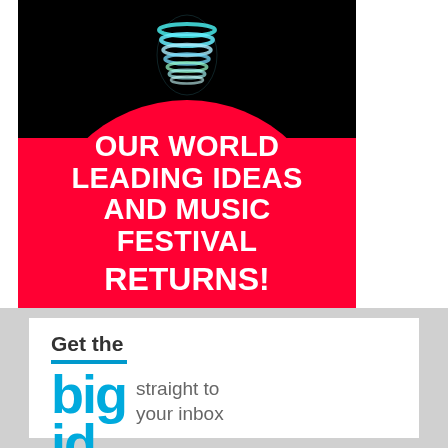[Figure (illustration): Festival promotional banner: black background with a glowing blue/green spiral lightbulb at top, large red semicircle and rectangle below with bold white text reading 'OUR WORLD LEADING IDEAS AND MUSIC FESTIVAL RETURNS!']
Get the big straight to your inbox weekly